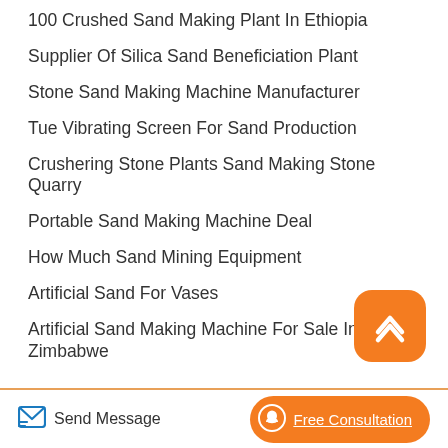100 Crushed Sand Making Plant In Ethiopia
Supplier Of Silica Sand Beneficiation Plant
Stone Sand Making Machine Manufacturer
Tue Vibrating Screen For Sand Production
Crushering Stone Plants Sand Making Stone Quarry
Portable Sand Making Machine Deal
How Much Sand Mining Equipment
Artificial Sand For Vases
Artificial Sand Making Machine For Sale In Zimbabwe
Send Message   Free Consultation